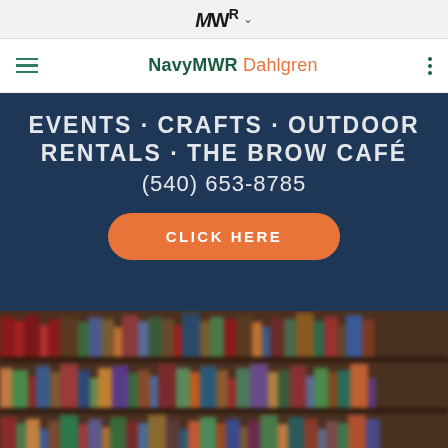MWR ˅
NavyMWR Dahlgren
EVENTS · CRAFTS · OUTDOOR RENTALS · THE BROW CAFÉ
(540) 653-8785
CLICK HERE
[Figure (photo): Blurred bookshelf image with rows of colorful books on dark wooden shelves]